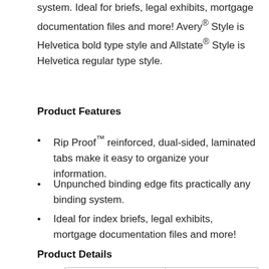system. Ideal for briefs, legal exhibits, mortgage documentation files and more! Avery® Style is Helvetica bold type style and Allstate® Style is Helvetica regular type style.
Product Features
Rip Proof™ reinforced, dual-sided, laminated tabs make it easy to organize your information.
Unpunched binding edge fits practically any binding system.
Ideal for index briefs, legal exhibits, mortgage documentation files and more!
Product Details
| Global Product Type | Index Dividers-Printed |
| --- | --- |